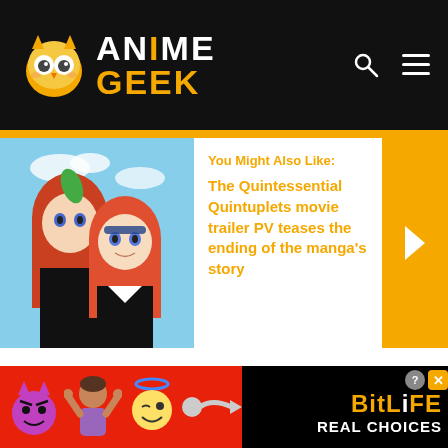[Figure (logo): Anime Geek website logo with orange owl mascot on black header background, search icon and hamburger menu icon]
[Figure (illustration): Anime illustration showing two red-haired female characters from The Quintessential Quintuplets]
You Might Also Like:
The Quintessential Quintuplets movie trailer PV teases the ending of the manga's story
The only negative is that if the second season is two cours again then it's likely anime fans will be waiting another four years
[Figure (infographic): BitLife advertisement banner with devil emoji, person emoji, angel emoji, sperm emoji and text REAL CHOICES on red and black background]